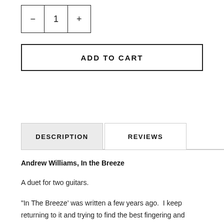| - | 1 | + |
| --- | --- | --- |
ADD TO CART
DESCRIPTION
REVIEWS
Andrew Williams, In the Breeze
A duet for two guitars.
"In The Breeze' was written a few years ago.  I keep returning to it and trying to find the best fingering and